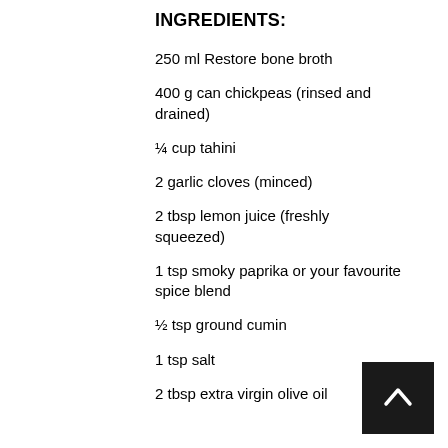INGREDIENTS:
250 ml Restore bone broth
400 g can chickpeas (rinsed and drained)
¼ cup tahini
2 garlic cloves (minced)
2 tbsp lemon juice (freshly squeezed)
1 tsp smoky paprika or your favourite spice blend
½ tsp ground cumin
1 tsp salt
2 tbsp extra virgin olive oil